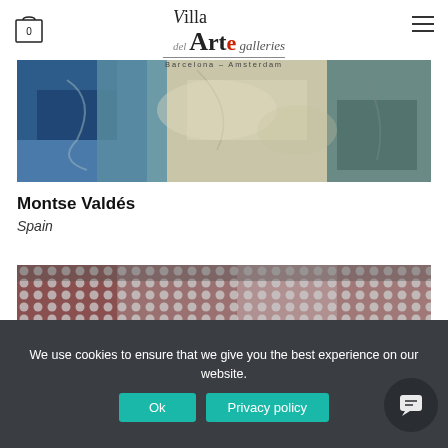[Figure (logo): Villa del Arte galleries logo, Barcelona - Amsterdam, with shopping cart icon showing 0 and hamburger menu icon]
[Figure (photo): Abstract artwork showing blue, teal, and beige textured painting by Montse Valdés]
Montse Valdés
Spain
[Figure (photo): Artwork showing a grid pattern of circular dots/holes in muted pink, red, and grey tones]
We use cookies to ensure that we give you the best experience on our website.
Ok
Privacy policy